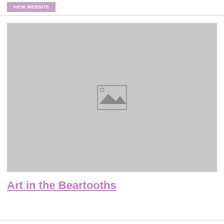VIEW WEBSITE
[Figure (photo): Placeholder image with mountain landscape icon on grey background]
Art in the Beartooths